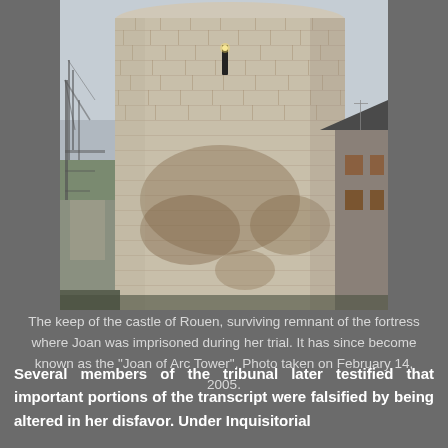[Figure (photo): A photograph of the keep of the castle of Rouen, a large cylindrical stone tower with weathered stonework. Bare tree branches visible on the left, a grey building with a dark slate roof on the right. Overcast sky. A small slit window with a light visible near the top of the tower.]
The keep of the castle of Rouen, surviving remnant of the fortress where Joan was imprisoned during her trial. It has since become known as the "Joan of Arc Tower". Photo taken on February 14, 2005.
Several members of the tribunal later testified that important portions of the transcript were falsified by being altered in her disfavor. Under Inquisitorial